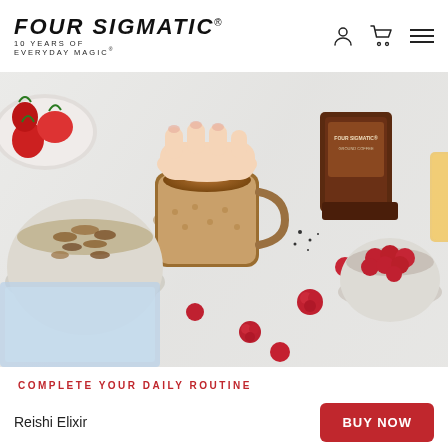FOUR SIGMATIC® 10 YEARS OF EVERYDAY MAGIC®
[Figure (photo): Overhead flat lay photo of a breakfast scene on a white marble surface: a ceramic mug of coffee held by a hand, a bowl of granola, scattered raspberries, a bowl of raspberries, a bag of Four Sigmatic Ground Coffee, strawberries on a plate, and a glass of juice.]
COMPLETE YOUR DAILY ROUTINE
A better way to
Reishi Elixir
BUY NOW